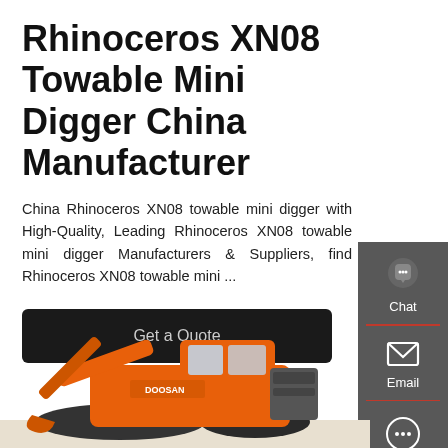Rhinoceros XN08 Towable Mini Digger China Manufacturer
China Rhinoceros XN08 towable mini digger with High-Quality, Leading Rhinoceros XN08 towable mini digger Manufacturers & Suppliers, find Rhinoceros XN08 towable mini ...
Get a Quote
[Figure (screenshot): Dark grey sidebar panel with Chat (speech bubble icon), Email (envelope icon), and Contact (speech dots icon) buttons stacked vertically with red dividers]
[Figure (photo): Orange Doosan excavator/mini digger shown from the side, partially cropped at the bottom of the page]